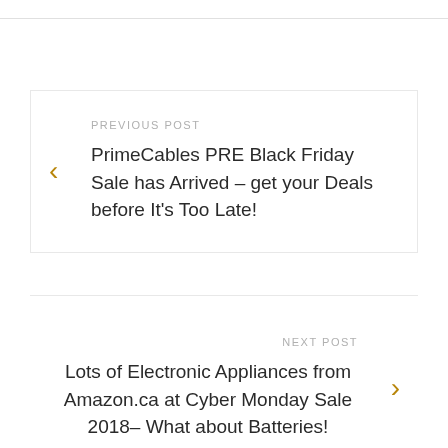PREVIOUS POST
PrimeCables PRE Black Friday Sale has Arrived – get your Deals before It's Too Late!
NEXT POST
Lots of Electronic Appliances from Amazon.ca at Cyber Monday Sale 2018– What about Batteries!